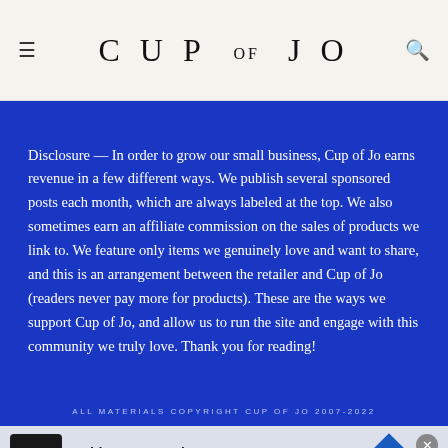CUP OF JO
Disclosure — In order to grow our small business, Cup of Jo earns revenue in a few different ways. We publish several sponsored posts each month, which are always labeled at the top. We also sometimes earn an affiliate commission on the sales of products we link to. We feature only items we genuinely love and want to share, and this is an arrangement between the retailer and Cup of Jo (readers never pay more for products). These are the ways we support Cup of Jo, and allow us to run the site and engage with this community we truly love. Thank you for reading!
ALL MATERIALS COPYRIGHT CUP OF JO 2007-2022
[Figure (other): Advertisement banner for TopGolf Ashburn showing OPEN 10AM-11PM, 20356 Commonwealth Center...]